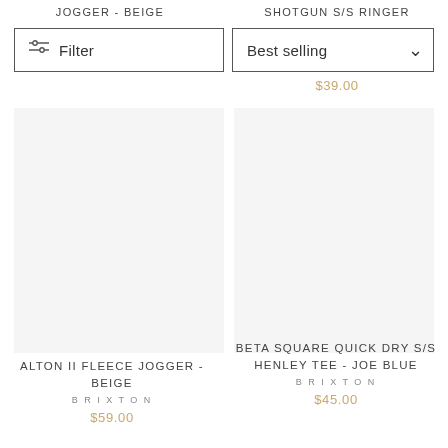JOGGER - BEIGE
SHOTGUN S/S RINGER
Filter
Best selling
$39.00
[Figure (photo): Product image placeholder left - Alton II Fleece Jogger Beige]
[Figure (photo): Product image placeholder right - Beta Square Quick Dry S/S Henley Tee Joe Blue]
ALTON II FLEECE JOGGER - BEIGE
BRIXTON
$59.00
BETA SQUARE QUICK DRY S/S HENLEY TEE - JOE BLUE
BRIXTON
$45.00